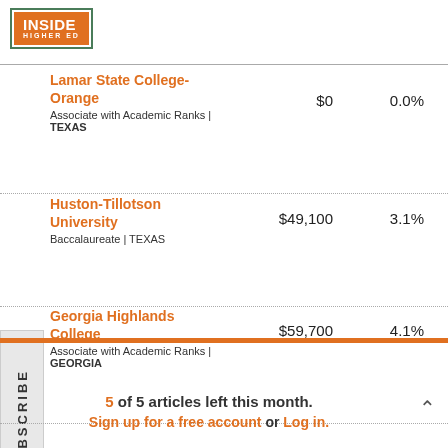[Figure (logo): Inside Higher Ed logo with orange background and green border]
Lamar State College-Orange
Associate with Academic Ranks | TEXAS
$0  0.0%
Huston-Tillotson University
Baccalaureate | TEXAS
$49,100  3.1%
Georgia Highlands College
Associate with Academic Ranks | GEORGIA
$59,700  4.1%
5 of 5 articles left this month.
Sign up for a free account or Log in.